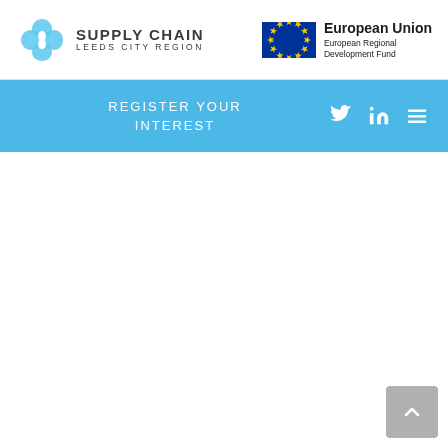[Figure (logo): Supply Chain Leeds City Region logo with chain link icon and text]
[Figure (logo): European Union European Regional Development Fund logo with EU flag]
REGISTER YOUR INTEREST
[Figure (infographic): Navigation bar with Twitter, LinkedIn, and hamburger menu icons]
[Figure (illustration): Back to top button (grey rounded square with upward chevron)]